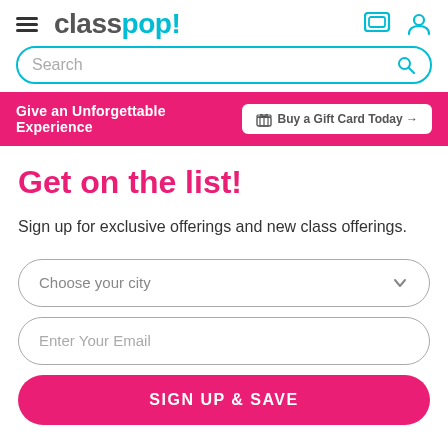class pop! — navigation header with hamburger menu, logo, chat and user icons
Search
Give an Unforgettable Experience — Buy a Gift Card Today →
Get on the list!
Sign up for exclusive offerings and new class offerings.
Choose your city
Enter Your Email
SIGN UP & SAVE